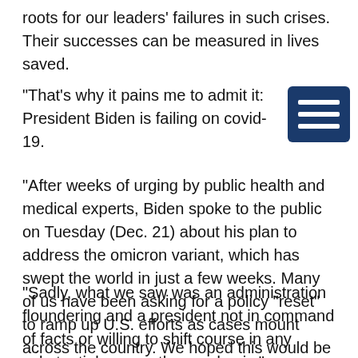roots for our leaders' failures in such crises. Their successes can be measured in lives saved.
"That's why it pains me to admit it: President Biden is failing on covid-19.
"After weeks of urging by public health and medical experts, Biden spoke to the public on Tuesday (Dec. 21) about his plan to address the omicron variant, which has swept the world in just a few weeks. Many of us have been asking for a policy "reset" to ramp up U.S. efforts as cases mount across the country. We hoped this would be the moment.
"Sadly, what we saw was an administration floundering and a president not in command of facts or willing to shift course in any substantial way on the pandemic."
[Figure (other): Dark blue hamburger/menu icon button with three horizontal white lines]